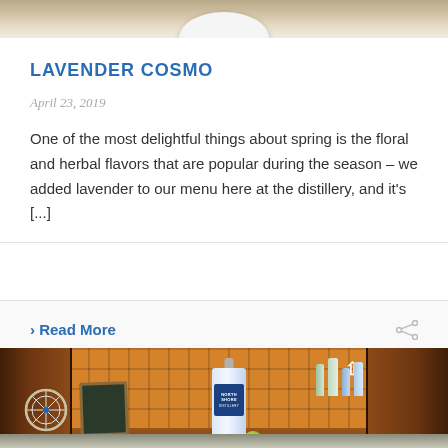[Figure (photo): Top portion of a photo showing a plate or dish on a wooden surface, partially cropped]
LAVENDER COSMO
April 23, 2019
One of the most delightful things about spring is the floral and herbal flavors that are popular during the season – we added lavender to our menu here at the distillery, and it's [...]
› Read More
[Figure (photo): Kitchen bar scene with North Shore Distillery bottle, spin wheel, chalkboard sign, lime garnish, and liquor bottles on shelves with orange tile backsplash]